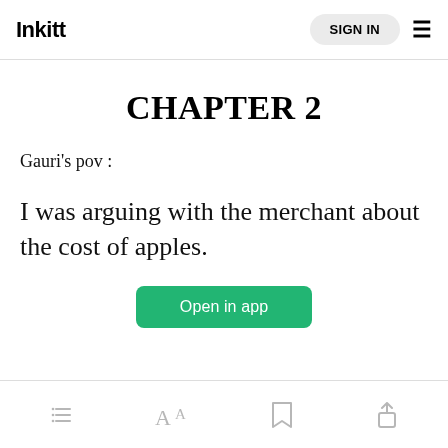Inkitt
CHAPTER 2
Gauri's pov :
I was arguing with the merchant about the cost of apples.
Open in app
toolbar icons: list, font size, bookmark, share